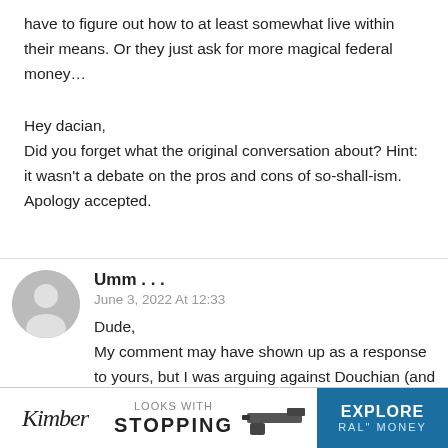have to figure out how to at least somewhat live within their means. Or they just ask for more magical federal money…
Hey dacian,
Did you forget what the original conversation about? Hint: it wasn't a debate on the pros and cons of so-shall-ism. Apology accepted.
Umm . . .
June 3, 2022 At 12:33
Dude,
My comment may have shown up as a response to yours, but I was arguing against Douchian (and so-shall-ism). That said, states can and do borrow money; it's just (as you said) "ral" money